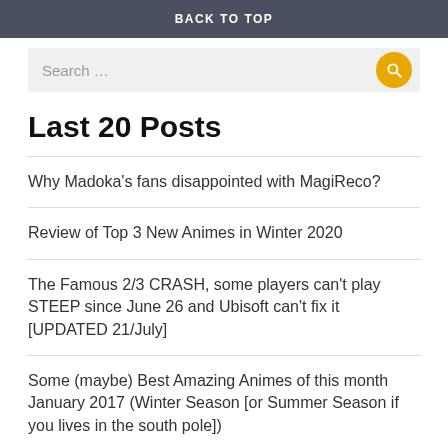BACK TO TOP
Search ...
Last 20 Posts
Why Madoka’s fans disappointed with MagiReco?
Review of Top 3 New Animes in Winter 2020
The Famous 2/3 CRASH, some players can’t play STEEP since June 26 and Ubisoft can't fix it [UPDATED 21/July]
Some (maybe) Best Amazing Animes of this month January 2017 (Winter Season [or Summer Season if you lives in the south pole])
Is The New Exclusive of Wii U “Seasons of Heaven” a copy